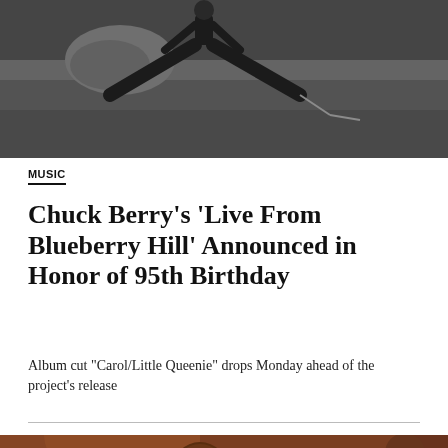[Figure (photo): Black and white photo of a performer doing a split or jump on stage]
MUSIC
Chuck Berry's ‘Live From Blueberry Hill’ Announced in Honor of 95th Birthday
Album cut “Carol/Little Queenie” drops Monday ahead of the project’s release
[Figure (photo): Color photo of Chuck Berry performing on stage wearing a plaid jacket and bow tie, holding a guitar]